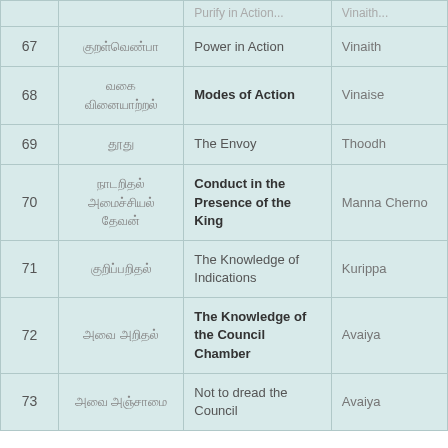| # | Tamil | English Title | Translator |
| --- | --- | --- | --- |
| 67 | குறள்வெண்பா | Power in Action | Vinaith... |
| 68 | வகை வினையாற்றல் | Modes of Action | Vinaise... |
| 69 | தூது | The Envoy | Thoodh... |
| 70 | நாடறிதல் அமைச்சியல் தேவன் | Conduct in the Presence of the King | Manna... Cherno... |
| 71 | குறிப்பறிதல் | The Knowledge of Indications | Kurippa... |
| 72 | அவை அறிதல் | The Knowledge of the Council Chamber | Avaiya... |
| 73 | அவை அஞ்சாமை | Not to dread the Council | Avaiya... |